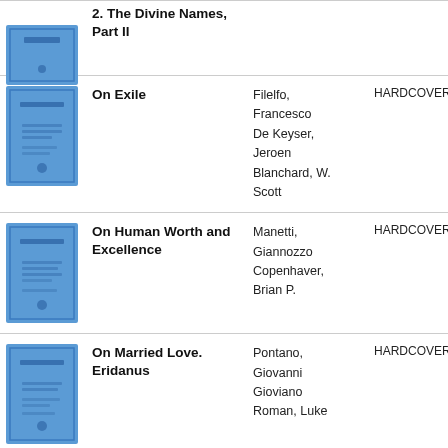[Figure (illustration): Blue book cover for 'The Divine Names, Part II']
2. The Divine Names, Part II
[Figure (illustration): Blue book cover for 'On Exile']
On Exile
Filelfo, Francesco De Keyser, Jeroen Blanchard, W. Scott
HARDCOVER
[Figure (illustration): Blue book cover for 'On Human Worth and Excellence']
On Human Worth and Excellence
Manetti, Giannozzo Copenhaver, Brian P.
HARDCOVER
[Figure (illustration): Blue book cover for 'On Married Love. Eridanus']
On Married Love. Eridanus
Pontano, Giovanni Gioviano Roman, Luke
HARDCOVER